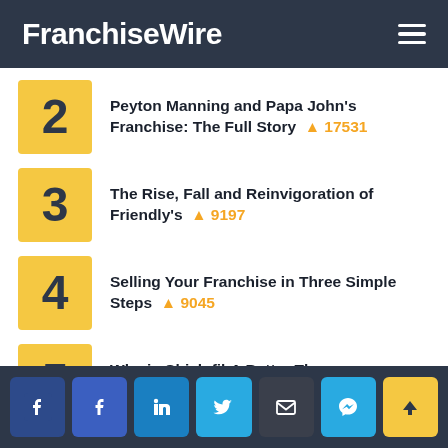FranchiseWire
2 Peyton Manning and Papa John's Franchise: The Full Story 🔥 17531
3 The Rise, Fall and Reinvigoration of Friendly's 🔥 9197
4 Selling Your Franchise in Three Simple Steps 🔥 9045
5 Why is Chick-fil-A Better Than McDonald's? 🔥 7748
Social share buttons: Facebook, Facebook, LinkedIn, Twitter, Email, Messenger